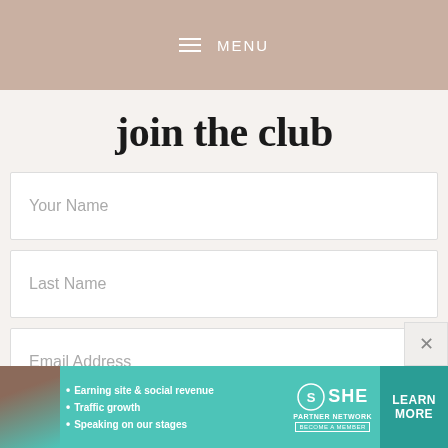MENU
join the club
Your Name
Last Name
Email Address
I'M IN!
Privacy Policy
[Figure (infographic): SHE Partner Network advertisement banner with a woman's photo, bullet points about earning site & social revenue, traffic growth, speaking on stages, and a Learn More button]